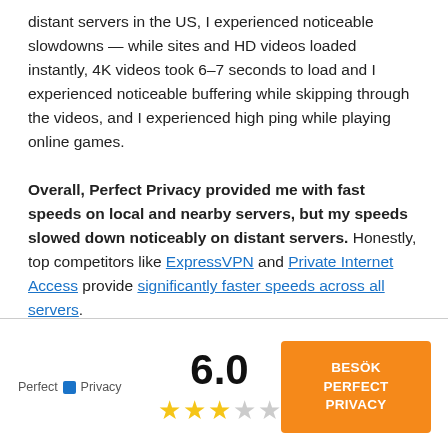distant servers in the US, I experienced noticeable slowdowns — while sites and HD videos loaded instantly, 4K videos took 6–7 seconds to load and I experienced noticeable buffering while skipping through the videos, and I experienced high ping while playing online games.

Overall, Perfect Privacy provided me with fast speeds on local and nearby servers, but my speeds slowed down noticeably on distant servers. Honestly, top competitors like ExpressVPN and Private Internet Access provide significantly faster speeds across all servers.
[Figure (other): Bottom panel with Perfect Privacy logo on left, score 6.0 with 3 filled stars and 2 empty stars in center, and orange 'BESÖK PERFECT PRIVACY' button on right]